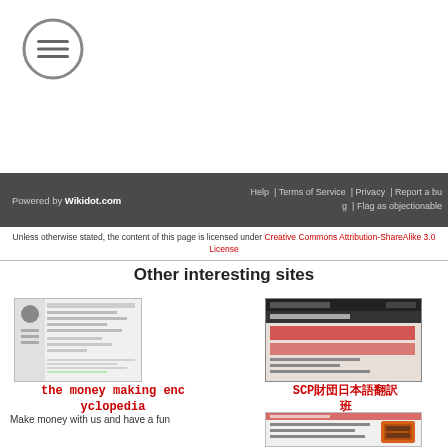[Figure (logo): Circular menu icon with three horizontal lines]
Powered by Wikidot.com | Help | Terms of Service | Privacy | Report a bug | Flag as objectionable
Unless otherwise stated, the content of this page is licensed under Creative Commons Attribution-ShareAlike 3.0 License
Other interesting sites
[Figure (screenshot): Screenshot thumbnail of 'the money making encyclopedia' website]
the money making encyclopedia
Make money with us and have a fun
[Figure (screenshot): Screenshot thumbnail of SCP wiki website]
SCP財団日本語翻訳
[Figure (screenshot): Screenshot thumbnail of another website with orange element]